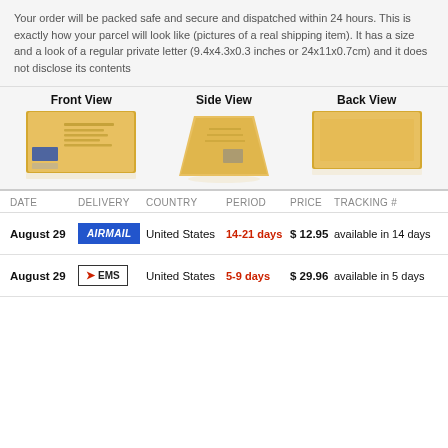Your order will be packed safe and secure and dispatched within 24 hours. This is exactly how your parcel will look like (pictures of a real shipping item). It has a size and a look of a regular private letter (9.4x4.3x0.3 inches or 24x11x0.7cm) and it does not disclose its contents
[Figure (photo): Three views of a padded envelope: Front View showing address labels and postage, Side View showing the envelope at an angle, Back View showing the plain back of the envelope.]
| DATE | DELIVERY | COUNTRY | PERIOD | PRICE | TRACKING # |
| --- | --- | --- | --- | --- | --- |
| August 29 | AIRMAIL | United States | 14-21 days | $ 12.95 | available in 14 days |
| August 29 | EMS | United States | 5-9 days | $ 29.96 | available in 5 days |